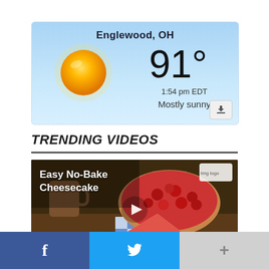[Figure (screenshot): Weather widget showing Englewood, OH with sun icon, temperature 91°, time 1:54 pm EDT, condition Mostly sunny, on a blue gradient background]
TRENDING VIDEOS
[Figure (screenshot): Video thumbnail for Easy No-Bake Cheesecake showing a cherry cheesecake with a play button in the center]
[Figure (infographic): Social sharing bar with Facebook (blue), Twitter (light blue), and more (+) buttons]